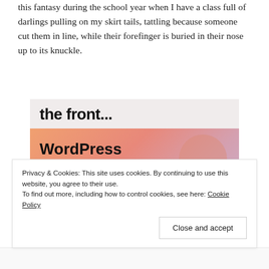this fantasy during the school year when I have a class full of darlings pulling on my skirt tails, tattling because someone cut them in line, while their forefinger is buried in their nose up to its knuckle.
[Figure (screenshot): Screenshot of a website or blog post showing two sections: an upper light gray area with large bold text 'the front...' and a lower colorful gradient area (orange, pink, lavender) with bold text 'WordPress in the back.' with decorative circular shapes.]
Privacy & Cookies: This site uses cookies. By continuing to use this website, you agree to their use. To find out more, including how to control cookies, see here: Cookie Policy
Close and accept